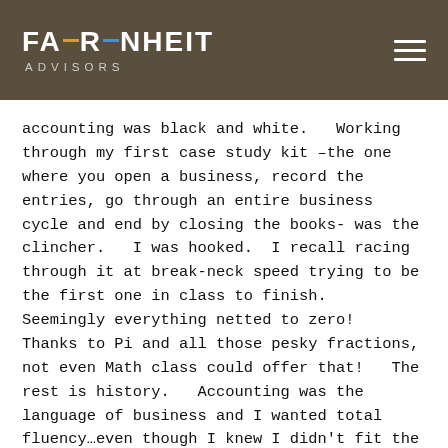FAHRENHEIT ADVISORS
accounting was black and white.   Working through my first case study kit –the one where you open a business, record the entries, go through an entire business cycle and end by closing the books- was the clincher.   I was hooked.  I recall racing through it at break-neck speed trying to be the first one in class to finish.    Seemingly everything netted to zero!   Thanks to Pi and all those pesky fractions, not even Math class could offer that!   The rest is history.   Accounting was the language of business and I wanted total fluency…even though I knew I didn't fit the mold.
College and public accounting followed.   After my wife became a Naval officer, my career unfolded in